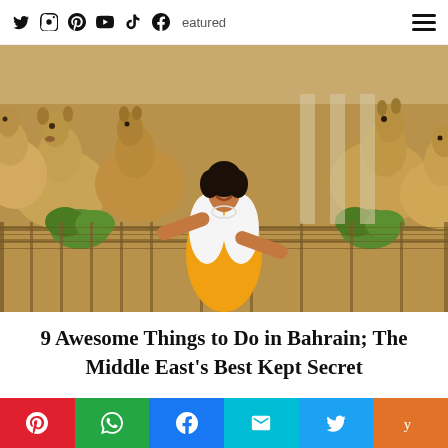Featured — social icons: Twitter, Instagram, Pinterest, YouTube, TikTok, Facebook; hamburger menu
[Figure (photo): Woman in orange dress and white cardigan smiling and holding greenery/herbs out to camels at a camel farm in Bahrain. Multiple camels visible behind a fence in a sunny outdoor setting.]
9 Awesome Things to Do in Bahrain; The Middle East's Best Kept Secret
[Figure (photo): Partial view of a second photo below the title, showing food or travel-related imagery.]
Share buttons: Pinterest, WhatsApp, Facebook, Email, Twitter, Yummly